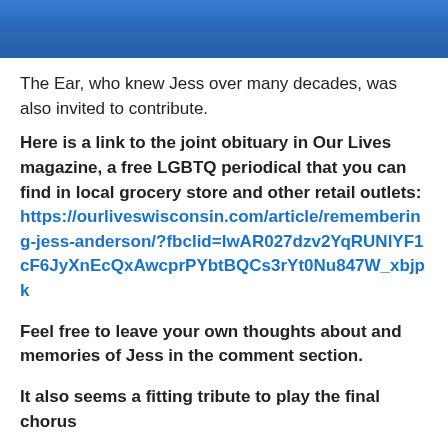[Figure (photo): Top portion of a photo showing a person in a blue shirt, cropped at the shoulders/chest area with a blue background.]
The Ear, who knew Jess over many decades, was also invited to contribute.
Here is a link to the joint obituary in Our Lives magazine, a free LGBTQ periodical that you can find in local grocery store and other retail outlets: https://ourliveswisconsin.com/article/remembering-jess-anderson/?fbclid=IwAR027dzv2YqRUNlYF1cF6JyXnEcQxAwcprPYbtBQCs3rYt0Nu847W_xbjpk
Feel free to leave your own thoughts about and memories of Jess in the comment section.
It also seems a fitting tribute to play the final chorus